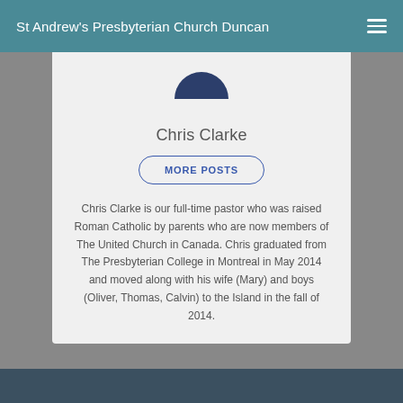St Andrew's Presbyterian Church Duncan
[Figure (photo): Partial profile photo of Chris Clarke, showing bottom of a dark circular portrait photo cropped at top]
Chris Clarke
MORE POSTS
Chris Clarke is our full-time pastor who was raised Roman Catholic by parents who are now members of The United Church in Canada. Chris graduated from The Presbyterian College in Montreal in May 2014 and moved along with his wife (Mary) and boys (Oliver, Thomas, Calvin) to the Island in the fall of 2014.